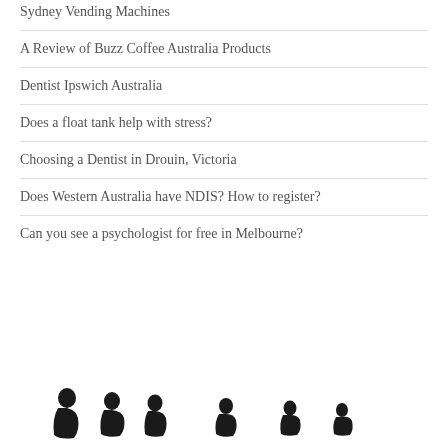Sydney Vending Machines
A Review of Buzz Coffee Australia Products
Dentist Ipswich Australia
Does a float tank help with stress?
Choosing a Dentist in Drouin, Victoria
Does Western Australia have NDIS? How to register?
Can you see a psychologist for free in Melbourne?
[Figure (illustration): Silhouettes of multiple people standing in profile, arranged in a row, getting progressively smaller from left to right]